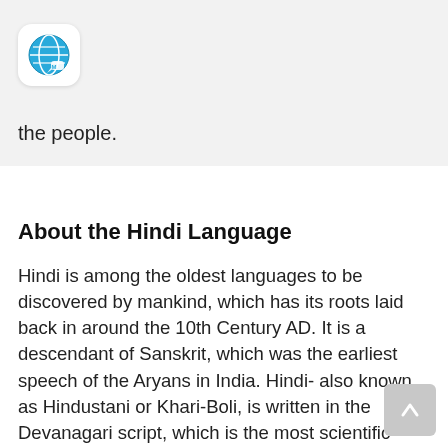[Figure (logo): Circular blue and white logo with globe/brain icon, white background with rounded corners]
the people.
About the Hindi Language
Hindi is among the oldest languages to be discovered by mankind, which has its roots laid back in around the 10th Century AD. It is a descendant of Sanskrit, which was the earliest speech of the Aryans in India. Hindi- also known as Hindustani or Khari-Boli, is written in the Devanagari script, which is the most scientific writing system in the world and is widely spoken by over ten million people across the globe as their first or second language, which makes it 3rd most widely spoken language in the world.